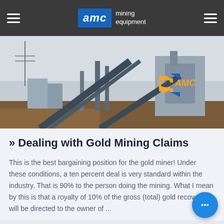AMC mining equipment
[Figure (photo): Mining facility with conveyor belts, industrial structures and the AMC logo visible in the background]
» Dealing with Gold Mining Claims
This is the best bargaining position for the gold miner! Under these conditions, a ten percent deal is very standard within the industry. That is 90% to the person doing the mining. What I mean by this is that a royalty of 10% of the gross (total) gold recovery will be directed to the owner of ...